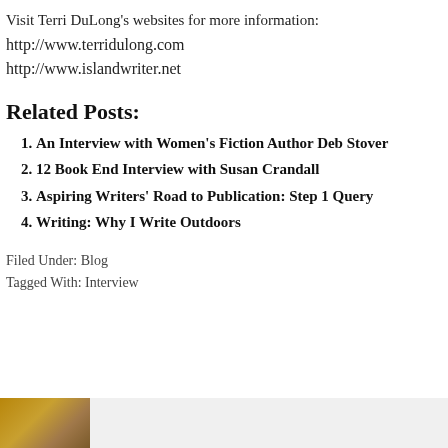Visit Terri DuLong's websites for more information:
http://www.terridulong.com
http://www.islandwriter.net
Related Posts:
An Interview with Women's Fiction Author Deb Stover
12 Book End Interview with Susan Crandall
Aspiring Writers' Road to Publication: Step 1 Query
Writing: Why I Write Outdoors
Filed Under: Blog
Tagged With: Interview